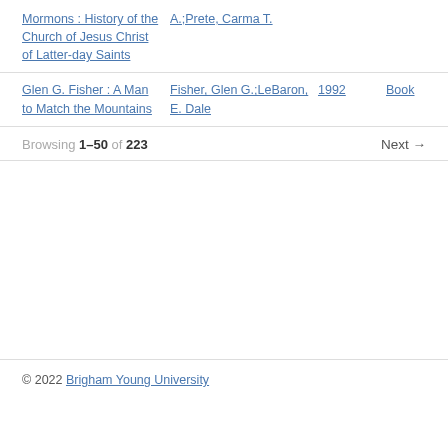Mormons : History of the Church of Jesus Christ of Latter-day Saints | A.;Prete, Carma T.
Glen G. Fisher : A Man to Match the Mountains | Fisher, Glen G.;LeBaron, E. Dale | 1992 | Book
Browsing 1–50 of 223 | Next →
© 2022 Brigham Young University